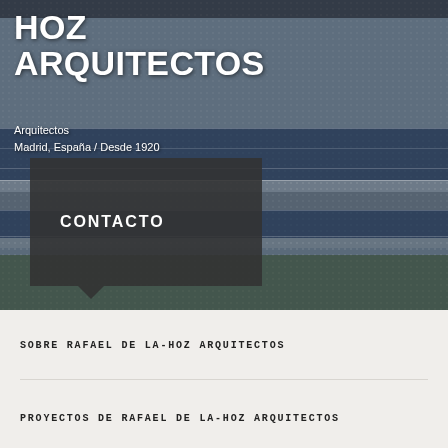[Figure (photo): Architectural photograph of a modern building with a patterned facade, horizontal window bands, and green lawn in the foreground. Dark overlay with dotted texture.]
HOZ ARQUITECTOS
Arquitectos
Madrid, España / Desde 1920
CONTACTO
SOBRE RAFAEL DE LA-HOZ ARQUITECTOS
PROYECTOS DE RAFAEL DE LA-HOZ ARQUITECTOS